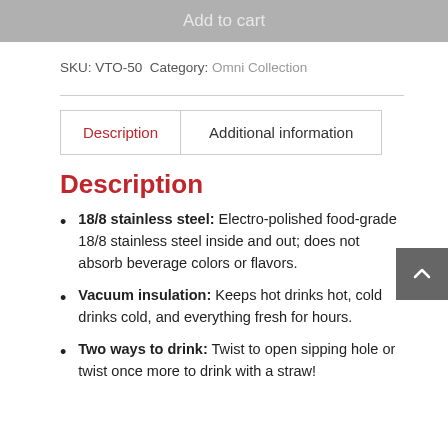Add to cart
SKU: VTO-50 Category: Omni Collection
Description
Additional information
Description
18/8 stainless steel: Electro-polished food-grade 18/8 stainless steel inside and out; does not absorb beverage colors or flavors.
Vacuum insulation: Keeps hot drinks hot, cold drinks cold, and everything fresh for hours.
Two ways to drink: Twist to open sipping hole or twist once more to drink with a straw!